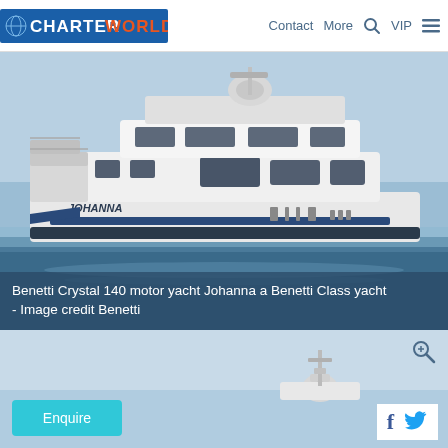CHARTERWORLD  Contact  More  VIP
[Figure (photo): Benetti Crystal 140 motor yacht Johanna, a large white luxury motor yacht underway on blue water, with multiple decks and satellite dome on top.]
Benetti Crystal 140 motor yacht Johanna a Benetti Class yacht - Image credit Benetti
[Figure (photo): Partial view of another yacht against a light blue sky, with a magnifying glass icon overlay and Enquire button and social media icons (Facebook and Twitter).]